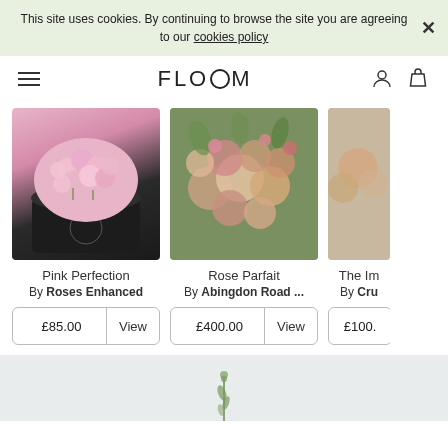This site uses cookies. By continuing to browse the site you are agreeing to our cookies policy
FLOOM
[Figure (photo): Pink roses in a black cylindrical box — Pink Perfection product image]
Pink Perfection
By Roses Enhanced
£85.00 | View
[Figure (photo): Mixed pink and green flowers bouquet — Rose Parfait product image]
Rose Parfait
By Abingdon Road ...
£400.00 | View
[Figure (photo): Partially visible floral arrangement — The Im... product]
The Im...
By Cru
£100.
[Figure (photo): Light grey background with a small plant stem at bottom of page]